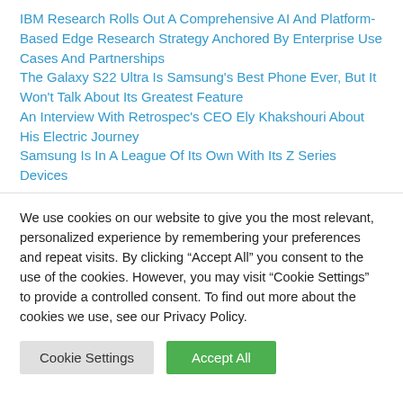IBM Research Rolls Out A Comprehensive AI And Platform-Based Edge Research Strategy Anchored By Enterprise Use Cases And Partnerships
The Galaxy S22 Ultra Is Samsung’s Best Phone Ever, But It Won’t Talk About Its Greatest Feature
An Interview With Retrospec’s CEO Ely Khakshouri About His Electric Journey
Samsung Is In A League Of Its Own With Its Z Series Devices
We use cookies on our website to give you the most relevant, personalized experience by remembering your preferences and repeat visits. By clicking “Accept All” you consent to the use of the cookies. However, you may visit “Cookie Settings” to provide a controlled consent. To find out more about the cookies we use, see our Privacy Policy.
Cookie Settings | Accept All